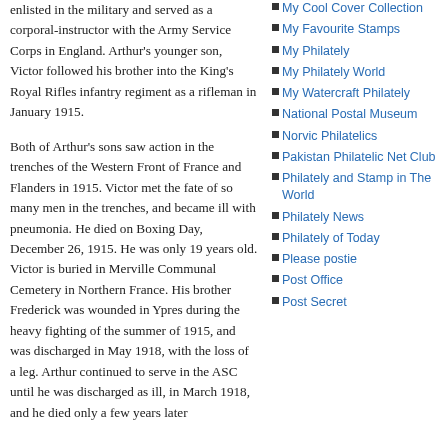enlisted in the military and served as a corporal-instructor with the Army Service Corps in England.  Arthur's younger son, Victor followed his brother into the King's Royal Rifles infantry regiment as a rifleman in January 1915.

Both of Arthur's sons saw action in the trenches of the Western Front of France and Flanders in 1915.  Victor met the fate of so many men in the trenches, and became ill with pneumonia. He died on Boxing Day, December 26, 1915. He was only 19 years old. Victor is buried in Merville Communal Cemetery in Northern France.  His brother Frederick was wounded in Ypres during the heavy fighting of the summer of 1915, and was discharged in May 1918, with the loss of a leg. Arthur continued to serve in the ASC until he was discharged as ill, in March 1918, and he died only a few years later
My Cool Cover Collection
My Favourite Stamps
My Philately
My Philately World
My Watercraft Philately
National Postal Museum
Norvic Philatelics
Pakistan Philatelic Net Club
Philately and Stamp in The World
Philately News
Philately of Today
Please postie
Post Office
Post Secret